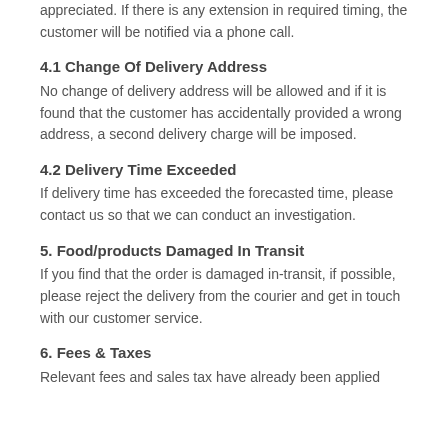appreciated. If there is any extension in required timing, the customer will be notified via a phone call.
4.1 Change Of Delivery Address
No change of delivery address will be allowed and if it is found that the customer has accidentally provided a wrong address, a second delivery charge will be imposed.
4.2 Delivery Time Exceeded
If delivery time has exceeded the forecasted time, please contact us so that we can conduct an investigation.
5. Food/products Damaged In Transit
If you find that the order is damaged in-transit, if possible, please reject the delivery from the courier and get in touch with our customer service.
6. Fees & Taxes
Relevant fees and sales tax have already been applied